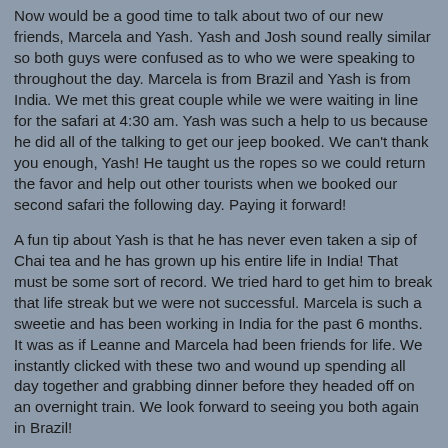Now would be a good time to talk about two of our new friends, Marcela and Yash.  Yash and Josh sound really similar so both guys were confused as to who we were speaking to throughout the day. Marcela is from Brazil and Yash is from India.  We met this great couple while we were waiting in line for the safari at 4:30 am.  Yash was such a help to us because he did all of the talking to get our jeep booked. We can't thank you enough, Yash!  He taught us the ropes so we could return the favor and help out other tourists when we booked our second safari the following day.  Paying it forward!
A fun tip about Yash is that he has never even taken a sip of Chai tea and he has grown up his entire life in India!  That must be some sort of record.  We tried hard to get him to break that life streak but we were not successful.  Marcela is such a sweetie and has been working in India for the past 6 months.  It was as if Leanne and Marcela had been friends for life.   We instantly clicked with these two and wound up spending all day together and grabbing dinner before they headed off on an overnight train.  We look forward to seeing you both again in Brazil!